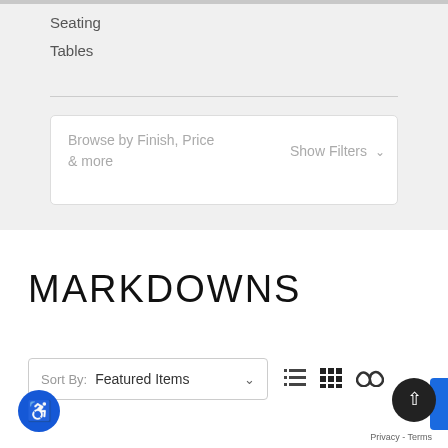Seating
Tables
Browse by Finish, Price & more
Show Filters
MARKDOWNS
Sort By: Featured Items